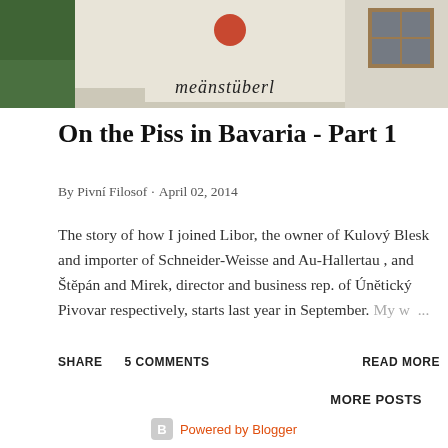[Figure (photo): Photo of a Bavarian building exterior showing a sign reading 'Männerstüberl' with a red/orange circle emblem, green tree on the left, and a window on the right.]
On the Piss in Bavaria - Part 1
By Pivní Filosof · April 02, 2014
The story of how I joined Libor, the owner of Kulový Blesk and importer of Schneider-Weisse and Au-Hallertau , and Štěpán and Mirek, director and business rep. of Únětický Pivovar respectively, starts last year in September. My w ...
SHARE   5 COMMENTS   READ MORE
MORE POSTS
Powered by Blogger